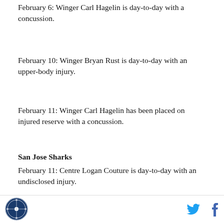February 6: Winger Carl Hagelin is day-to-day with a concussion.
February 10: Winger Bryan Rust is day-to-day with an upper-body injury.
February 11: Winger Carl Hagelin has been placed on injured reserve with a concussion.
San Jose Sharks
February 11: Centre Logan Couture is day-to-day with an undisclosed injury.
St. Louis Blues
February 5: Centre Robby Fabbri will miss the remainder of the season with a left knee injury.
Logo | Twitter | Facebook